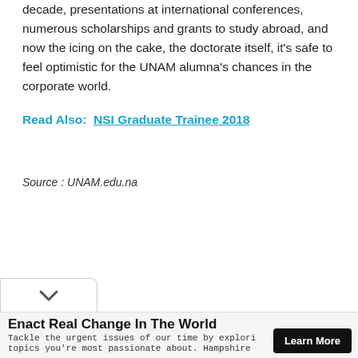decade, presentations at international conferences, numerous scholarships and grants to study abroad, and now the icing on the cake, the doctorate itself, it's safe to feel optimistic for the UNAM alumna's chances in the corporate world.
Read Also:  NSI Graduate Trainee 2018
Source : UNAM.edu.na
[Figure (other): Chevron/collapse button at bottom left of content area]
Enact Real Change In The World
Tackle the urgent issues of our time by exploring the topics you're most passionate about. Hampshire